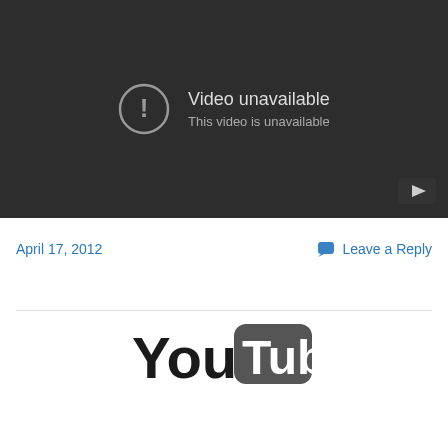[Figure (screenshot): YouTube video player showing 'Video unavailable' error message on a dark background. An exclamation mark in a circle icon is shown with text 'Video unavailable' and 'This video is unavailable'. A YouTube logo button appears in the bottom right corner of the player.]
April 17, 2012
Leave a Reply
[Figure (logo): YouTube logo: 'You' in black bold text followed by 'Tube' in white bold text inside a rounded dark gray rectangle.]